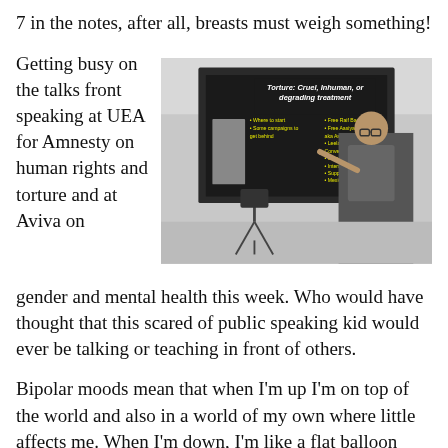7 in the notes, after all, breasts must weigh something!
Getting busy on the talks front speaking at UEA for Amnesty on human rights and torture and at Aviva on gender and mental health this week. Who would have thought that this scared of public speaking kid would ever be talking or teaching in front of others.
[Figure (photo): Person presenting a slide titled 'Torture: Cruel, Inhuman, or degrading treatment' with a projection screen in a lecture-style room. The slide contains yellow bullet points on a dark background.]
Bipolar moods mean that when I'm up I'm on top of the world and also in a world of my own where little affects me. When I'm down, I'm like a flat balloon where every comment punctures and deflates me further. I feel everything, with the world that